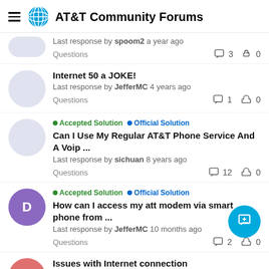AT&T Community Forums
Last response by spoom2 a year ago | Questions | Comments: 3 | Likes: 0
Internet 50 a JOKE! Last response by JefferMC 4 years ago | Questions | Comments: 1 | Likes: 0
[Accepted Solution][Official Solution] Can I Use My Regular AT&T Phone Service And A Voip ... Last response by sichuan 8 years ago | Questions | Comments: 12 | Likes: 0
[Accepted Solution][Official Solution] How can I access my att modem via smart phone from ... Last response by JefferMC 10 months ago | Questions | Comments: 2 | Likes: 0
Issues with Internet connection Last response by ATTHelp a year ago